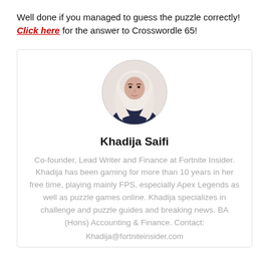Well done if you managed to guess the puzzle correctly! Click here for the answer to Crosswordle 65!
[Figure (photo): Circular profile photo of Khadija Saifi, a woman wearing a hijab]
Khadija Saifi
Co-founder, Lead Writer and Finance at Fortnite Insider. Khadija has been gaming for more than 10 years in her free time, playing mainly FPS, especially Apex Legends as well as puzzle games online. Khadija specializes in challenge and puzzle guides and breaking news. BA (Hons) Accounting & Finance. Contact:
Khadija@fortniteinsider.com